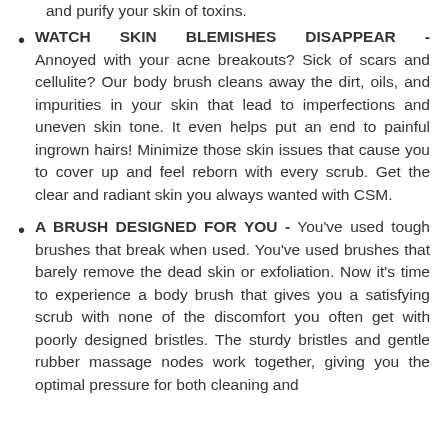WATCH SKIN BLEMISHES DISAPPEAR - Annoyed with your acne breakouts? Sick of scars and cellulite? Our body brush cleans away the dirt, oils, and impurities in your skin that lead to imperfections and uneven skin tone. It even helps put an end to painful ingrown hairs! Minimize those skin issues that cause you to cover up and feel reborn with every scrub. Get the clear and radiant skin you always wanted with CSM.
A BRUSH DESIGNED FOR YOU - You've used tough brushes that break when used. You've used brushes that barely remove the dead skin or exfoliation. Now it's time to experience a body brush that gives you a satisfying scrub with none of the discomfort you often get with poorly designed bristles. The sturdy bristles and gentle rubber massage nodes work together, giving you the optimal pressure for both cleaning and